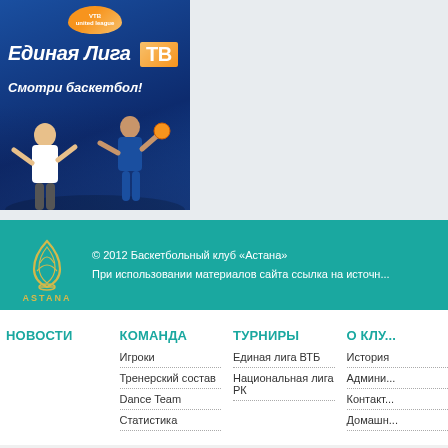[Figure (illustration): VTB United League TV advertisement banner — blue background with basketball players silhouette, text 'Единая Лига ТВ' and 'Смотри баскетбол!']
© 2012 Баскетбольный клуб «Астана»
При использовании материалов сайта ссылка на источн...
НОВОСТИ
КОМАНДА
Игроки
Тренерский состав
Dance Team
Статистика
ТУРНИРЫ
Единая лига ВТБ
Национальная лига РК
О КЛУ...
История
Админи...
Контакт...
Домашн...